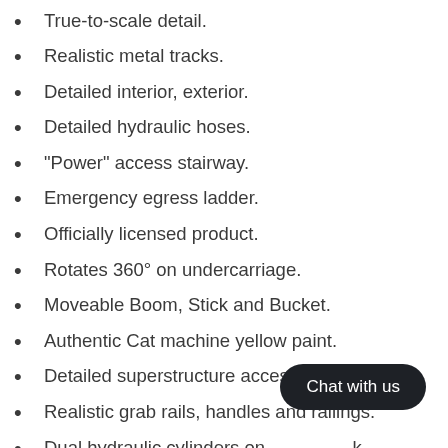True-to-scale detail.
Realistic metal tracks.
Detailed interior, exterior.
Detailed hydraulic hoses.
"Power" access stairway.
Emergency egress ladder.
Officially licensed product.
Rotates 360° on undercarriage.
Moveable Boom, Stick and Bucket.
Authentic Cat machine yellow paint.
Detailed superstructure access area.
Realistic grab rails, handles and railings.
Dual hydraulic cylinders on stick.
Manufacturer's original unopened packaging.